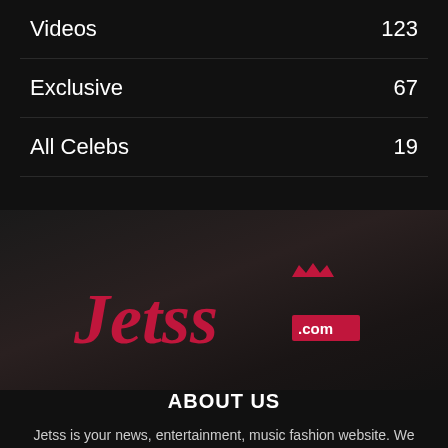Videos 123
Exclusive 67
All Celebs 19
[Figure (logo): Jetss.com logo in crimson red italic serif font with a crown icon and .com badge]
ABOUT US
Jetss is your news, entertainment, music fashion website. We provide you with the latest breaking news and videos straight from the entertainment industry. Learn more - ABOUT US